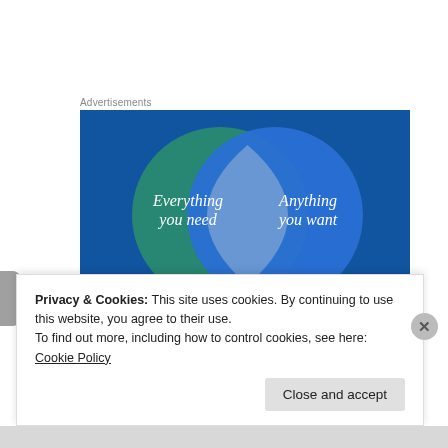Advertisements
[Figure (infographic): Venn diagram with two overlapping circles on a dark blue background. Left circle is teal/green with text 'Everything you need'. Right circle is blue with text 'Anything you want'. The overlapping region is a lighter blue-grey lens shape.]
Privacy & Cookies: This site uses cookies. By continuing to use this website, you agree to their use.
To find out more, including how to control cookies, see here: Cookie Policy
Close and accept